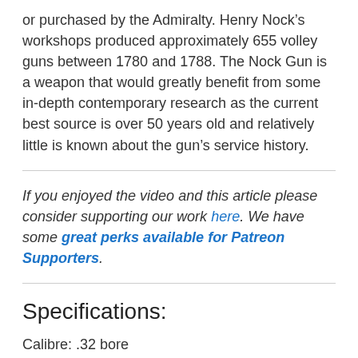or purchased by the Admiralty. Henry Nock's workshops produced approximately 655 volley guns between 1780 and 1788. The Nock Gun is a weapon that would greatly benefit from some in-depth contemporary research as the current best source is over 50 years old and relatively little is known about the gun's service history.
If you enjoyed the video and this article please consider supporting our work here. We have some great perks available for Patreon Supporters.
Specifications:
Calibre: .32 bore
Action: Muzzle-loading 7-barrel flintlock